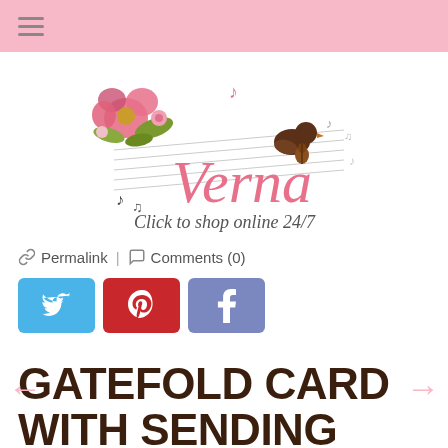≡
[Figure (logo): Verna logo with flowers, musical staff, bird, and text 'Click to shop online 24/7']
🔗 Permalink | 💬 Comments (0)
[Figure (infographic): Social sharing buttons: Twitter (blue), Pinterest (red), Facebook (blue-grey)]
GATEFOLD CARD WITH SENDING HUGS BUNDLE